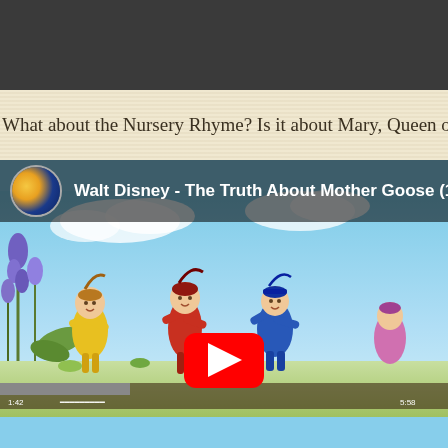What about the Nursery Rhyme? Is it about Mary, Queen of Scots? Disne…
[Figure (screenshot): YouTube video thumbnail showing Walt Disney - The Truth About Mother Goose (1/2), with a circular avatar of a France football team photo, and animated characters of three figures in colorful costumes dancing in a garden scene, with a red YouTube play button overlay.]